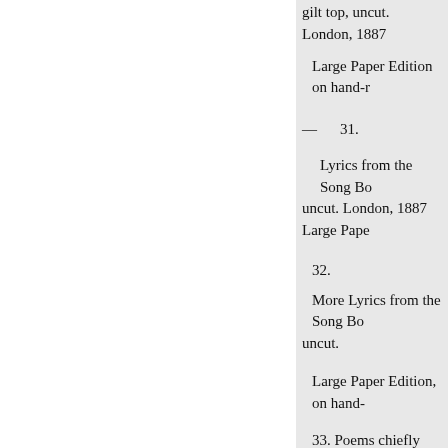gilt top, uncut. London, 1887
Large Paper Edition on hand-r
— 31.
Lyrics from the Song Bo uncut. London, 1887 Large Pape
32.
More Lyrics from the Song Bo uncut.
Large Paper Edition, on hand-
33. Poems chiefly Lyrical fro back, gilt top, uncut.
Large Paper Edition, on hand-